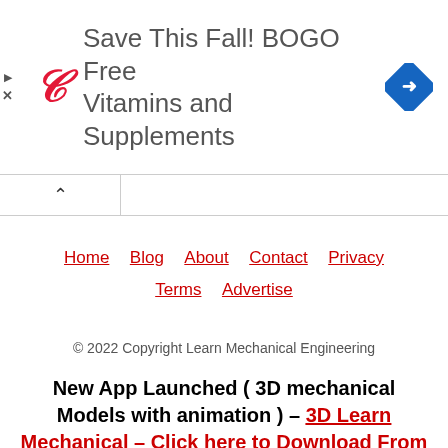[Figure (infographic): Walgreens advertisement banner: red cursive W logo, text 'Save This Fall! BOGO Free Vitamins and Supplements', blue navigation diamond icon on right, small play and X icons on left]
Home   Blog   About   Contact   Privacy   Terms   Advertise
© 2022 Copyright Learn Mechanical Engineering
New App Launched ( 3D mechanical Models with animation ) – 3D Learn Mechanical – Click here to Download From Play Store